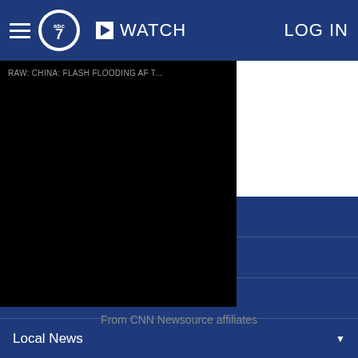abc7 | WATCH | LOG IN
[Figure (screenshot): Video player showing RAW: CHINA: FLASH FLOODING AF T... with black background]
From CNN Newsource affiliates
Home
AccuWeather
Traffic
Local News
Categories
Station Info